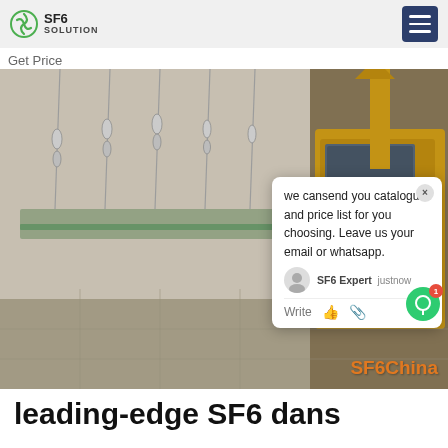SF6 SOLUTION
Get Price
[Figure (photo): Industrial facility photo showing SF6 gas equipment with high-voltage insulators on a horizontal bus bar structure on the left, and a yellow specialized vehicle/machine on the right. Interior industrial setting with white walls and tiled floor.]
we cansend you catalogue and price list for you choosing. Leave us your email or whatsapp.
SF6 Expert   justnow
Write
leading-edge SF6 dans